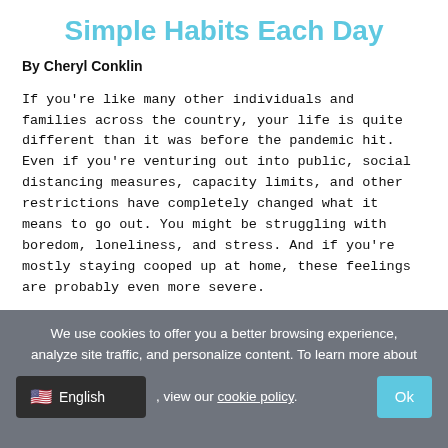Simple Habits Each Day
By Cheryl Conklin
If you're like many other individuals and families across the country, your life is quite different than it was before the pandemic hit. Even if you're venturing out into public, social distancing measures, capacity limits, and other restrictions have completely changed what it means to go out. You might be struggling with boredom, loneliness, and stress. And if you're mostly staying cooped up at home, these feelings are probably even more severe.
We use cookies to offer you a better browsing experience, analyze site traffic, and personalize content. To learn more about , view our cookie policy.